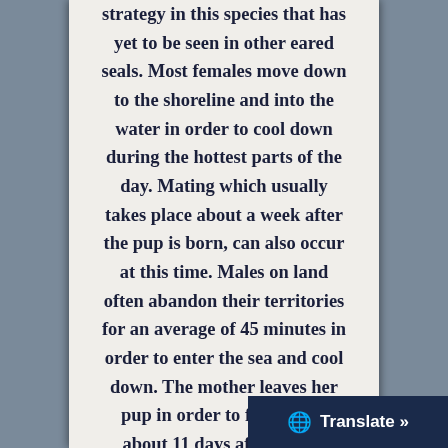strategy in this species that has yet to be seen in other eared seals. Most females move down to the shoreline and into the water in order to cool down during the hottest parts of the day. Mating which usually takes place about a week after the pup is born, can also occur at this time. Males on land often abandon their territories for an average of 45 minutes in order to enter the sea and cool down. The mother leaves her pup in order to feed at sea about 11 days after giving birth, longer than for other fur seal species and for the next 7-10 months she alternates periods of an average of 5 days nursing her pup on land w
[Figure (screenshot): Translate button overlay in bottom-right corner with globe icon]